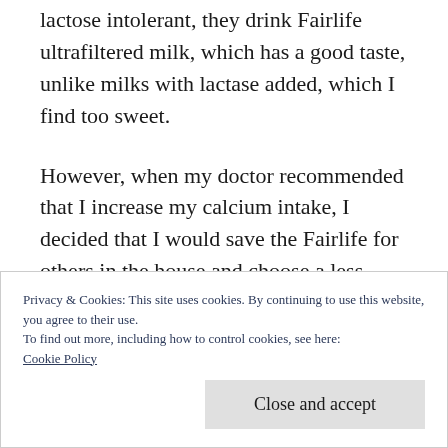lactose intolerant, they drink Fairlife ultrafiltered milk, which has a good taste, unlike milks with lactase added, which I find too sweet.
However, when my doctor recommended that I increase my calcium intake, I decided that I would save the Fairlife for others in the house and choose a less expensive option for me. The problem is, though, that I don't like to drink milk from the standard plastic jugs that are
Privacy & Cookies: This site uses cookies. By continuing to use this website, you agree to their use.
To find out more, including how to control cookies, see here: Cookie Policy